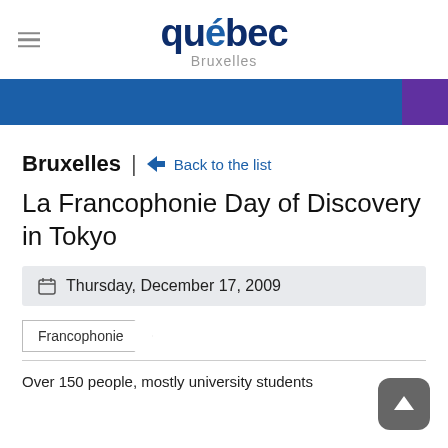québec Bruxelles
[Figure (other): Blue navigation banner with a purple/violet section on the right]
Bruxelles | Back to the list
La Francophonie Day of Discovery in Tokyo
Thursday, December 17, 2009
Francophonie
Over 150 people, mostly university students